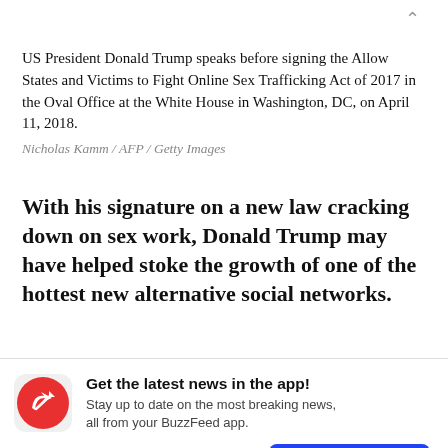US President Donald Trump speaks before signing the Allow States and Victims to Fight Online Sex Trafficking Act of 2017 in the Oval Office at the White House in Washington, DC, on April 11, 2018.
Nicholas Kamm / AFP / Getty Images
With his signature on a new law cracking down on sex work, Donald Trump may have helped stoke the growth of one of the hottest new alternative social networks.
[Figure (logo): BuzzFeed app icon: red circle with white trending arrow logo]
Get the latest news in the app! Stay up to date on the most breaking news, all from your BuzzFeed app.
Maybe later
Get the app